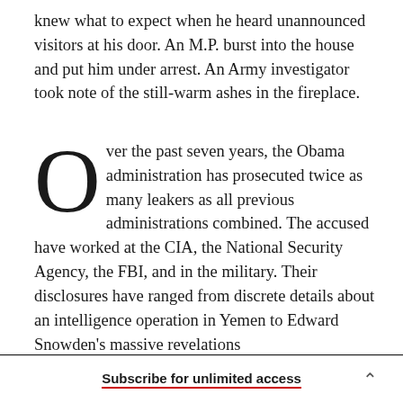knew what to expect when he heard unannounced visitors at his door. An M.P. burst into the house and put him under arrest. An Army investigator took note of the still-warm ashes in the fireplace.
Over the past seven years, the Obama administration has prosecuted twice as many leakers as all previous administrations combined. The accused have worked at the CIA, the National Security Agency, the FBI, and in the military. Their disclosures have ranged from discrete details about an intelligence operation in Yemen to Edward Snowden's massive revelations
Subscribe for unlimited access